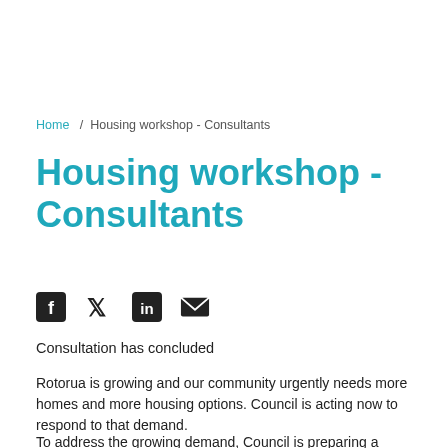Home / Housing workshop - Consultants
Housing workshop - Consultants
[Figure (other): Social media share icons: Facebook, Twitter, LinkedIn, Email]
Consultation has concluded
Rotorua is growing and our community urgently needs more homes and more housing options. Council is acting now to respond to that demand.
To address the growing demand, Council is preparing a Housing